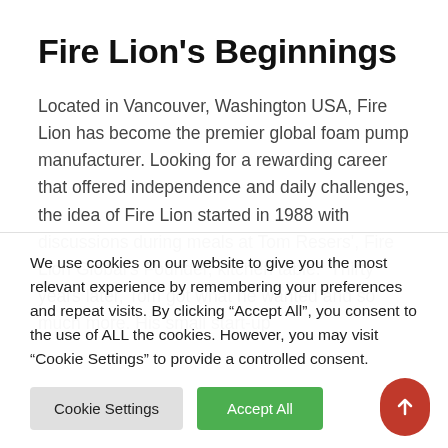Fire Lion's Beginnings
Located in Vancouver, Washington USA, Fire Lion has become the premier global foam pump manufacturer. Looking for a rewarding career that offered independence and daily challenges, the idea of Fire Lion started in 1988 with discussions during meals at Tom Resers', Fire Lion Global's Founder, kitchen table.  Thirty years later, Tom got what he wanted and so much more. His small start-up
We use cookies on our website to give you the most relevant experience by remembering your preferences and repeat visits. By clicking “Accept All”, you consent to the use of ALL the cookies. However, you may visit “Cookie Settings” to provide a controlled consent.